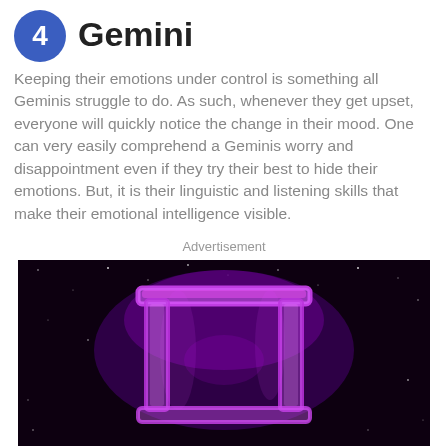4 Gemini
Keeping their emotions under control is something all Geminis struggle to do. As such, whenever they get upset, everyone will quickly notice the change in their mood. One can very easily comprehend a Geminis worry and disappointment even if they try their best to hide their emotions. But, it is their linguistic and listening skills that make their emotional intelligence visible.
Advertisement
[Figure (photo): Glowing purple/pink Gemini zodiac symbol (twin pillars) on a dark starry background]